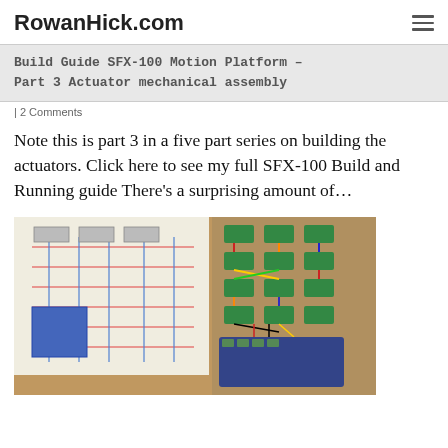RowanHick.com
Build Guide SFX-100 Motion Platform – Part 3 Actuator mechanical assembly
| 2 Comments
Note this is part 3 in a five part series on building the actuators. Click here to see my full SFX-100 Build and Running guide There's a surprising amount of…
[Figure (photo): Photo of electronics wiring diagram on paper alongside a breadboard with green terminal blocks and colorful wires on a wooden surface]